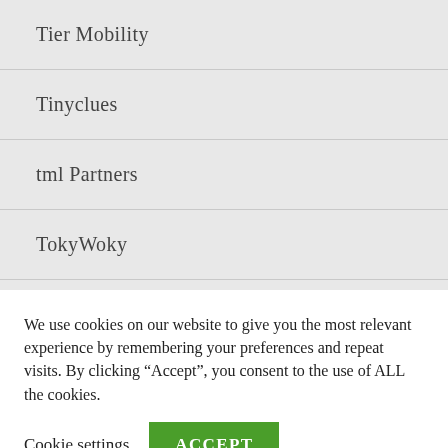Tier Mobility
Tinyclues
tml Partners
TokyWoky
Transatel
Uber
Ubisoft
UiPath
United Arab Emirates
We use cookies on our website to give you the most relevant experience by remembering your preferences and repeat visits. By clicking “Accept”, you consent to the use of ALL the cookies.
Cookie settings
ACCEPT